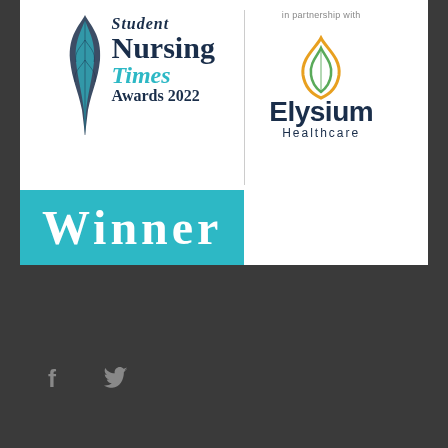[Figure (logo): Student Nursing Times Awards 2022 Winner banner with Elysium Healthcare partnership logo. White background banner showing feather/quill logo with 'Student Nursing Times Awards 2022' text on left side, vertical divider, and Elysium Healthcare logo on right with 'in partnership with' text. Large teal 'Winner' banner at bottom of award image.]
[Figure (logo): Facebook and Twitter social media icons in light gray on dark gray background at bottom of page]